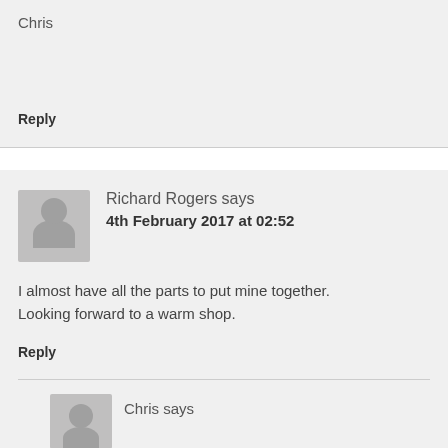Chris
Reply
Richard Rogers says
4th February 2017 at 02:52
I almost have all the parts to put mine together. Looking forward to a warm shop.
Reply
Chris says